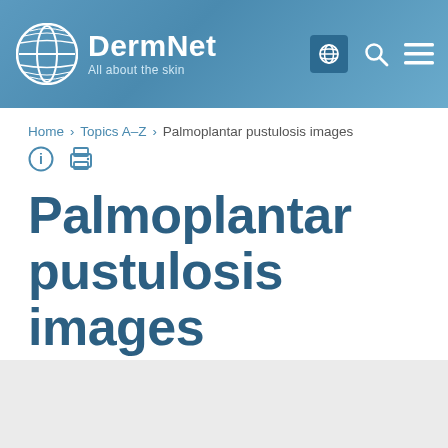[Figure (logo): DermNet logo with globe/fingerprint icon and text 'DermNet All about the skin' on blue gradient header background with navigation icons]
Home > Topics A–Z > Palmoplantar pustulosis images
Palmoplantar pustulosis images
Created 2007.
ADVERTISEMENT